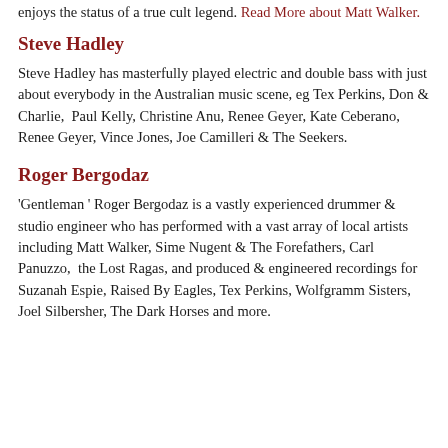enjoys the status of a true cult legend. Read More about Matt Walker.
Steve Hadley
Steve Hadley has masterfully played electric and double bass with just about everybody in the Australian music scene, eg Tex Perkins, Don & Charlie, Paul Kelly, Christine Anu, Renee Geyer, Kate Ceberano, Renee Geyer, Vince Jones, Joe Camilleri & The Seekers.
Roger Bergodaz
'Gentleman ' Roger Bergodaz is a vastly experienced drummer & studio engineer who has performed with a vast array of local artists including Matt Walker, Sime Nugent & The Forefathers, Carl Panuzzo, the Lost Ragas, and produced & engineered recordings for Suzanah Espie, Raised By Eagles, Tex Perkins, Wolfgramm Sisters, Joel Silbersher, The Dark Horses and more.